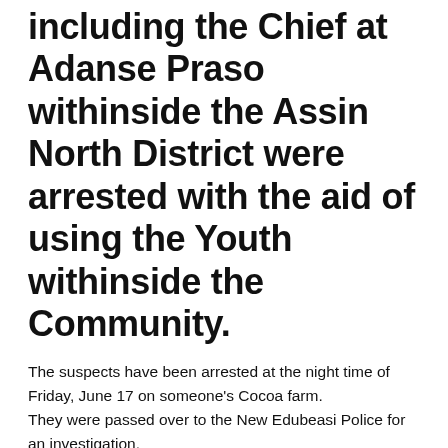including the Chief at Adanse Praso withinside the Assin North District were arrested with the aid of using the Youth withinside the Community.
The suspects have been arrested at the night time of Friday, June 17 on someone's Cocoa farm.
They were passed over to the New Edubeasi Police for an investigation.
[Figure (other): Advertisement or image placeholder box with light cream/beige background]
It might be recalled that Kasapa News Yaw Boagyan mentioned that armed robbers numbering approximately 20 have attacked the Chief and citizens of Adanse Praso